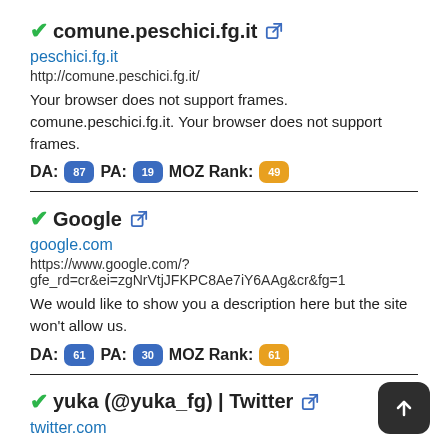comune.peschici.fg.it
peschici.fg.it
http://comune.peschici.fg.it/
Your browser does not support frames. comune.peschici.fg.it. Your browser does not support frames.
DA: 87 PA: 19 MOZ Rank: 49
Google
google.com
https://www.google.com/?gfe_rd=cr&ei=zgNrVtjJFKPC8Ae7iY6AAg&cr&fg=1
We would like to show you a description here but the site won't allow us.
DA: 61 PA: 30 MOZ Rank: 61
yuka (@yuka_fg) | Twitter
twitter.com